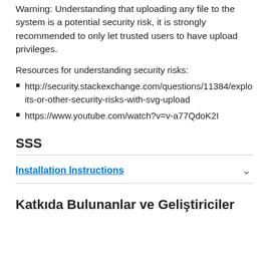Warning: Understanding that uploading any file to the system is a potential security risk, it is strongly recommended to only let trusted users to have upload privileges.
Resources for understanding security risks:
http://security.stackexchange.com/questions/11384/exploits-or-other-security-risks-with-svg-upload
https://www.youtube.com/watch?v=v-a77QdoK2I
SSS
Installation Instructions
Katkıda Bulunanlar ve Geliştiriciler